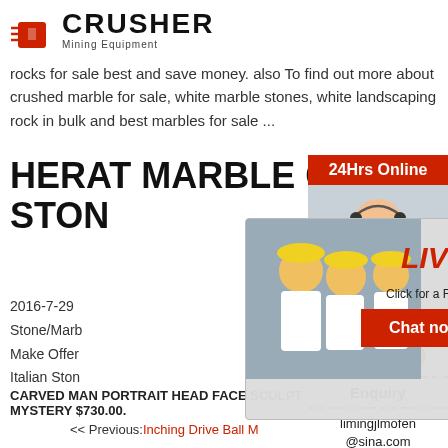[Figure (logo): Crusher Mining Equipment logo with red shopping bag icon and bold CRUSHER text]
rocks for sale best and save money. also To find out more about crushed marble for sale, white marble stones, white landscaping rock in bulk and best marbles for sale ...
HERAT MARBLE CRUSHED STONE SUPPLIER ONLINE
2016-7-29  Stone/Marble
Make Offer
Italian Ston
CARVED MAN PORTRAIT HEAD FACE SCULPT MYSTERY $730.00.
[Figure (screenshot): Live Chat popup overlay with workers image, LIVE CHAT text in red italic, Click for a Free Consultation, Chat now and Chat later buttons, and customer service representative image]
[Figure (infographic): Right sidebar with 24Hrs Online banner, customer service lady photo, Need questions & suggestion Chat Now button, Enquiry section, and limingjlmofen@sina.com email]
< < Previous:Inching Drive Ball M
> > Next:Neoplan Mining Compa Indonesia